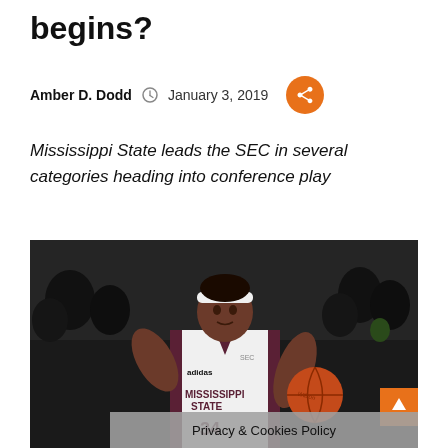begins?
Amber D. Dodd   January 3, 2019
Mississippi State leads the SEC in several categories heading into conference play
[Figure (photo): Mississippi State women's basketball player wearing a white MISSISSIPPI STATE jersey with number 34, holding a basketball, pointing with her left hand, with a crowd in the background]
Privacy & Cookies Policy